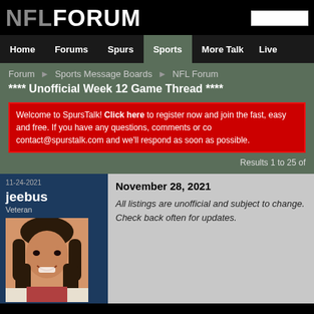NFLFORUM
Home | Forums | Spurs | Sports | More Talk | Live
Forum  Sports Message Boards  NFL Forum
**** Unofficial Week 12 Game Thread ****
Welcome to SpursTalk! Click here to register now and join the fast, easy and free. If you have any questions, comments or co contact@spurstalk.com and we'll respond as soon as possible.
Results 1 to 25 of
11-24-2021
jeebus
Veteran
November 28, 2021
All listings are unofficial and subject to change. Check back often for updates.